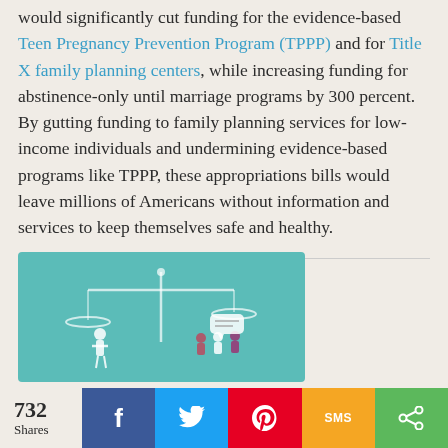would significantly cut funding for the evidence-based Teen Pregnancy Prevention Program (TPPP) and for Title X family planning centers, while increasing funding for abstinence-only until marriage programs by 300 percent. By gutting funding to family planning services for low-income individuals and undermining evidence-based programs like TPPP, these appropriations bills would leave millions of Americans without information and services to keep themselves safe and healthy.
[Figure (illustration): Teal/green background illustration showing a balance scale with silhouettes of people and a speech bubble, representing legal or policy balance.]
732 Shares | Facebook | Twitter | Pinterest | SMS | Share